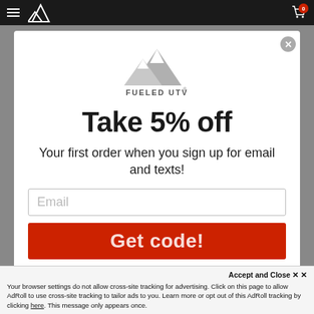[Figure (logo): Fueled UTV logo with mountain peak graphic in gray, text FUELED UTV below]
Take 5% off
Your first order when you sign up for email and texts!
Email (input field placeholder)
Get code! (button)
Accept and Close
Your browser settings do not allow cross-site tracking for advertising. Click on this page to allow AdRoll to use cross-site tracking to tailor ads to you. Learn more or opt out of this AdRoll tracking by clicking here. This message only appears once.